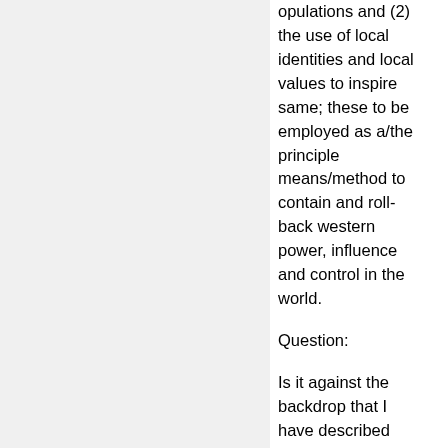opulations and (2) the use of local identities and local values to inspire same; these to be employed as a/the principle means/method to contain and roll-back western power, influence and control in the world.
Question:
Is it against the backdrop that I have described above that "Understanding and Countering Nation-State Use of Protracted Unconventional Warfare" becomes the "order of the day?"
(As "we" now work more "by, with and through" the regimes, to achieve our desired ends, "they" will work now more with the ceded populations, to undermine, compromise and overthrow such regimes and t